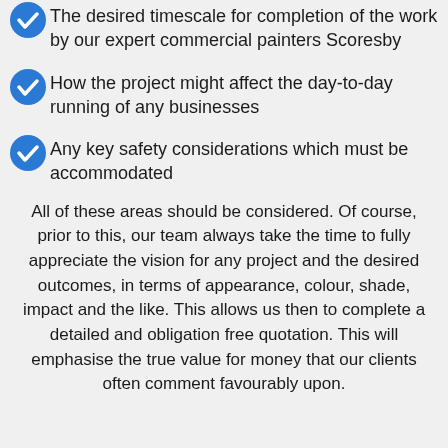The desired timescale for completion of the work by our expert commercial painters Scoresby
How the project might affect the day-to-day running of any businesses
Any key safety considerations which must be accommodated
All of these areas should be considered. Of course, prior to this, our team always take the time to fully appreciate the vision for any project and the desired outcomes, in terms of appearance, colour, shade, impact and the like. This allows us then to complete a detailed and obligation free quotation. This will emphasise the true value for money that our clients often comment favourably upon.